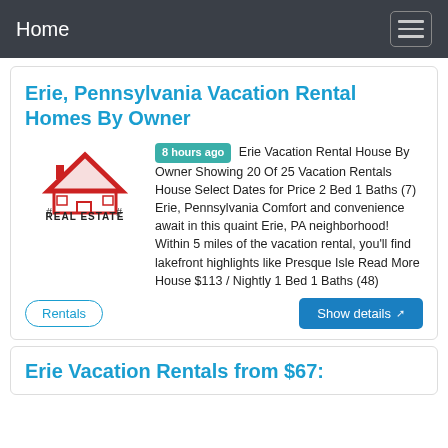Home
Erie, Pennsylvania Vacation Rental Homes By Owner
[Figure (logo): Real Estate logo with red house/roof icon and text REAL ESTATE]
8 hours ago Erie Vacation Rental House By Owner Showing 20 Of 25 Vacation Rentals House Select Dates for Price 2 Bed 1 Baths (7) Erie, Pennsylvania Comfort and convenience await in this quaint Erie, PA neighborhood! Within 5 miles of the vacation rental, you'll find lakefront highlights like Presque Isle Read More House $113 / Nightly 1 Bed 1 Baths (48)
Rentals
Show details
Erie Vacation Rentals from $67: